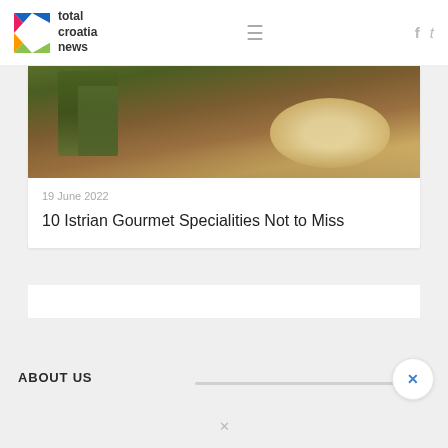total croatia news
[Figure (photo): Food photo showing asparagus and a plate with sauce on a wooden surface, partially cropped at top]
19 June 2022
10 Istrian Gourmet Specialities Not to Miss
ABOUT US